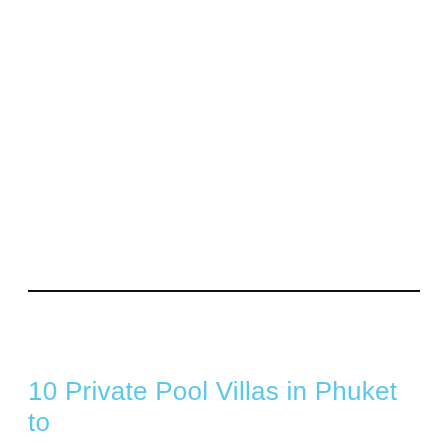10 Private Pool Villas in Phuket to